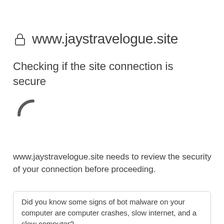www.jaystravelogue.site
Checking if the site connection is secure
[Figure (illustration): Loading spinner arc, dark gray, partial circle indicating loading/checking in progress]
www.jaystravelogue.site needs to review the security of your connection before proceeding.
Did you know some signs of bot malware on your computer are computer crashes, slow internet, and a slow computer?